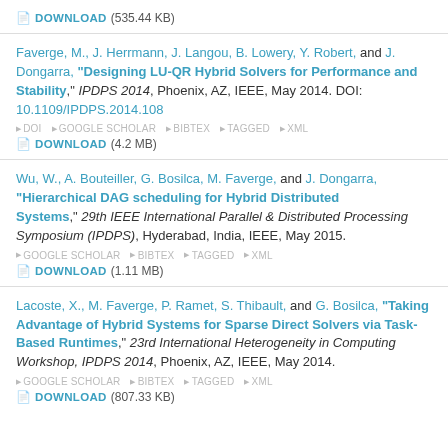DOWNLOAD (535.44 KB)
Faverge, M., J. Herrmann, J. Langou, B. Lowery, Y. Robert, and J. Dongarra, "Designing LU-QR Hybrid Solvers for Performance and Stability," IPDPS 2014, Phoenix, AZ, IEEE, May 2014. DOI: 10.1109/IPDPS.2014.108
DOWNLOAD (4.2 MB)
Wu, W., A. Bouteiller, G. Bosilca, M. Faverge, and J. Dongarra, "Hierarchical DAG scheduling for Hybrid Distributed Systems," 29th IEEE International Parallel & Distributed Processing Symposium (IPDPS), Hyderabad, India, IEEE, May 2015.
DOWNLOAD (1.11 MB)
Lacoste, X., M. Faverge, P. Ramet, S. Thibault, and G. Bosilca, "Taking Advantage of Hybrid Systems for Sparse Direct Solvers via Task-Based Runtimes," 23rd International Heterogeneity in Computing Workshop, IPDPS 2014, Phoenix, AZ, IEEE, May 2014.
DOWNLOAD (807.33 KB)